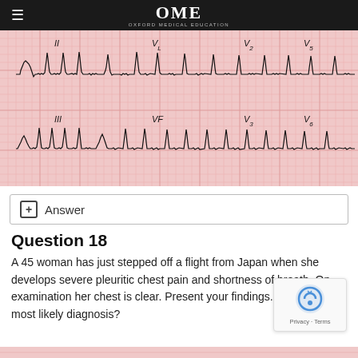OME — OXFORD MEDICAL EDUCATION
[Figure (photo): 12-lead ECG tracing on pink graph paper showing leads II, VL, V2, V5 (top row) and III, VF, V3, V6 (bottom row) with visible QRS complexes and rhythm strips]
+ Answer
Question 18
A 45 woman has just stepped off a flight from Japan when she develops severe pleuritic chest pain and shortness of breath. On examination her chest is clear. Present your findings. What is the most likely diagnosis?